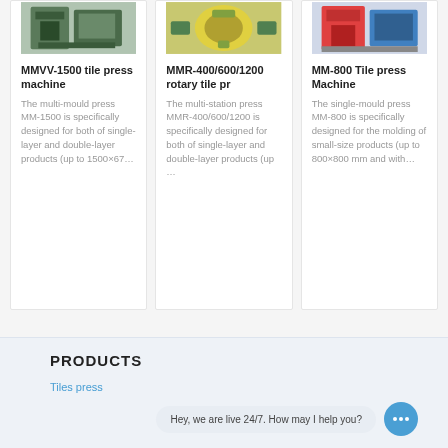[Figure (photo): Photo of MMVV-1500 tile press machine, green industrial machinery]
MMVV-1500 tile press machine
The multi-mould press MM-1500 is specifically designed for both of single-layer and double-layer products (up to 1500×67…
[Figure (photo): Photo of MMR-400/600/1200 rotary tile press machine, yellow/green machine]
MMR-400/600/1200 rotary tile pr
The multi-station press MMR-400/600/1200 is specifically designed for both of single-layer and double-layer products (up …
[Figure (photo): Photo of MM-800 Tile press Machine, red/blue industrial press]
MM-800 Tile press Machine
The single-mould press MM-800 is specifically designed for the molding of small-size products (up to 800×800 mm and with…
PRODUCTS
Tiles press